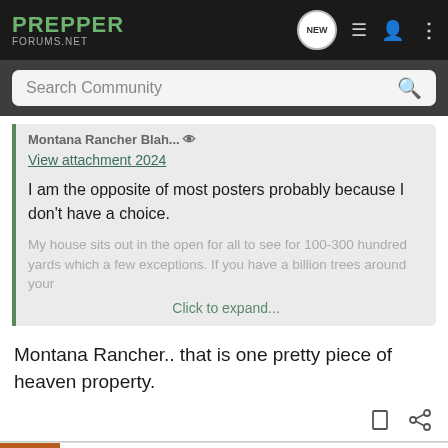PREPPER FORUMS.NET
Search Community
Montana Rancher Blah...
View attachment 2024
I am the opposite of most posters probably because I don't have a choice.
My house sits out in the open for all to see for 100-300 hundred yards which a few exceptions. If you have a billion trees around your
Click to expand...
Montana Rancher.. that is one pretty piece of heaven property.
[Figure (screenshot): Springfield Armory Hellcat Pro advertisement banner with gun image]